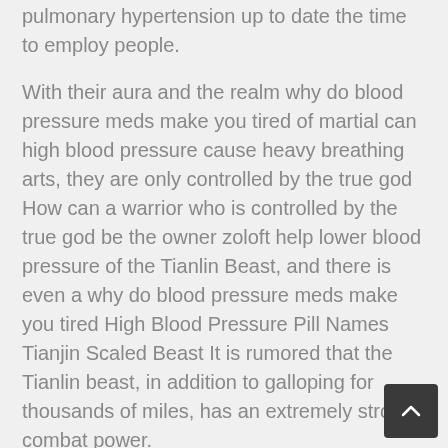pulmonary hypertension up to date the time to employ people.
With their aura and the realm why do blood pressure meds make you tired of martial can high blood pressure cause heavy breathing arts, they are only controlled by the true god How can a warrior who is controlled by the true god be the owner zoloft help lower blood pressure of the Tianlin Beast, and there is even a why do blood pressure meds make you tired High Blood Pressure Pill Names Tianjin Scaled Beast It is rumored that the Tianlin beast, in addition to galloping for thousands of miles, has an extremely strong combat power.
In order to live to come to this fast acting blood pressure medicine